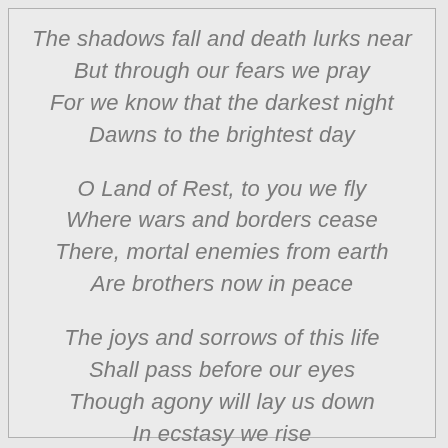The shadows fall and death lurks near
But through our fears we pray
For we know that the darkest night
Dawns to the brightest day

O Land of Rest, to you we fly
Where wars and borders cease
There, mortal enemies from earth
Are brothers now in peace

The joys and sorrows of this life
Shall pass before our eyes
Though agony will lay us down
In ecstasy we rise